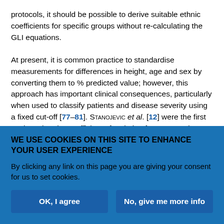protocols, it should be possible to derive suitable ethnic coefficients for specific groups without re-calculating the GLI equations.

At present, it is common practice to standardise measurements for differences in height, age and sex by converting them to % predicted value; however, this approach has important clinical consequences, particularly when used to classify patients and disease severity using a fixed cut-off [77–81]. Stanojevic et al. [12] were the first to show that the coefficient of variation for FEV₁ and FVC varies with age, the greatest variability occurring in young children and the elderly, with a minimum during early adulthood. This study confirms and extends this observation by showing that it cross-sectionally derived...
WE USE COOKIES ON THIS SITE TO ENHANCE YOUR USER EXPERIENCE

By clicking any link on this page you are giving your consent for us to set cookies.

OK, I agree | No, give me more info